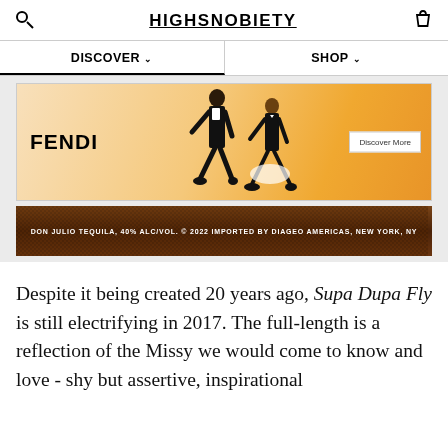HIGHSNOBIETY
DISCOVER   SHOP
[Figure (photo): Fendi fashion advertisement banner showing two models in formal black attire against a warm golden background, with 'FENDI' logo on the left and a 'Discover More' button on the right]
[Figure (photo): Don Julio Tequila advertisement banner with text: DON JULIO TEQUILA, 40% ALC/VOL. © 2022 IMPORTED BY DIAGEO AMERICAS, NEW YORK, NY]
Despite it being created 20 years ago, Supa Dupa Fly is still electrifying in 2017. The full-length is a reflection of the Missy we would come to know and love - shy but assertive, inspirational